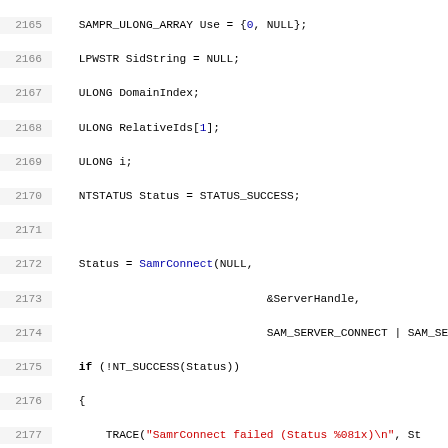[Figure (screenshot): Source code listing showing C/C++ code with line numbers 2165-2196+, featuring function calls to SamrConnect, SamrOpenDomain, NT_SUCCESS checks, TRACE macros, and a for loop iterating over SidEnumBuffer entries.]